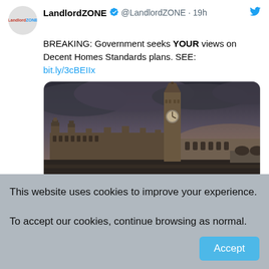LandlordZONE ✓ @LandlordZONE · 19h
BREAKING: Government seeks YOUR views on Decent Homes Standards plans. SEE: bit.ly/3cBEIIx
[Figure (photo): Photograph of the Houses of Parliament (Westminster) with Big Ben clock tower under dramatic stormy clouds, sepia/dark tone]
LandlordZO... ✓ @LandlordZO... · Sep 1
This website uses cookies to improve your experience.

To accept our cookies, continue browsing as normal.